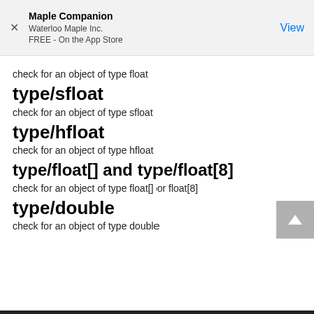Maple Companion
Waterloo Maple Inc.
FREE - On the App Store
check for an object of type float
type/sfloat
check for an object of type sfloat
type/hfloat
check for an object of type hfloat
type/float[] and type/float[8]
check for an object of type float[] or float[8]
type/double
check for an object of type double